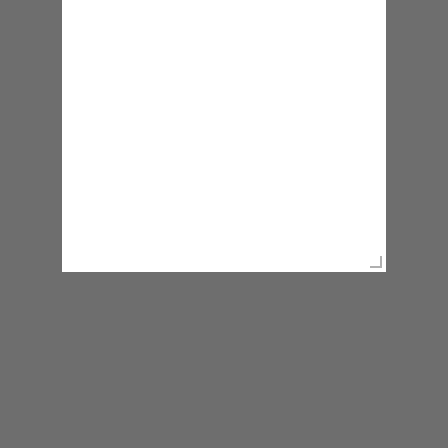[Figure (screenshot): White textarea input box with resize handle in bottom-right corner]
[Figure (screenshot): Yellow rounded Send button]
LOCATION